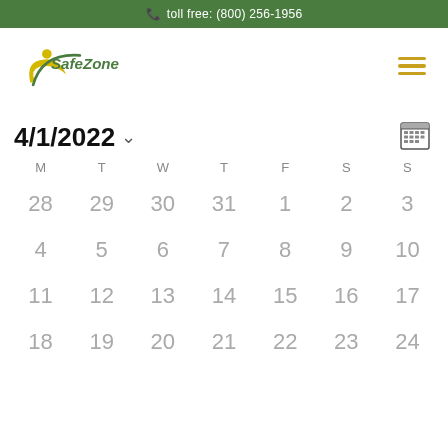toll free: (800) 256-1956
[Figure (logo): SafeZone logo with yellow swoosh and green text]
4/1/2022
| M | T | W | T | F | S | S |
| --- | --- | --- | --- | --- | --- | --- |
| 28 | 29 | 30 | 31 | 1 | 2 | 3 |
| 4 | 5 | 6 | 7 | 8 | 9 | 10 |
| 11 | 12 | 13 | 14 | 15 | 16 | 17 |
| 18 | 19 | 20 | 21 | 22 | 23 | 24 |